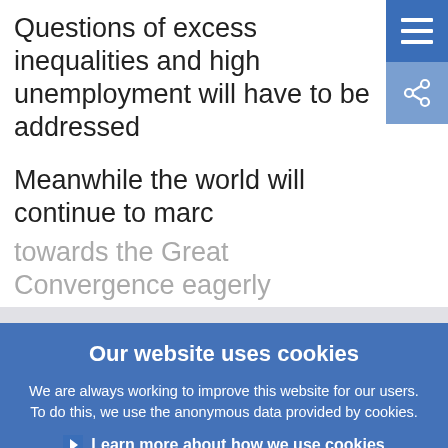Questions of excess inequalities and high unemployment will have to be addressed
Meanwhile the world will continue to march towards the Great Convergence eagerly
Our website uses cookies
We are always working to improve this website for our users. To do this, we use the anonymous data provided by cookies.
Learn more about how we use cookies
I understand and I accept the use of cookies
I do not accept the use of cookies